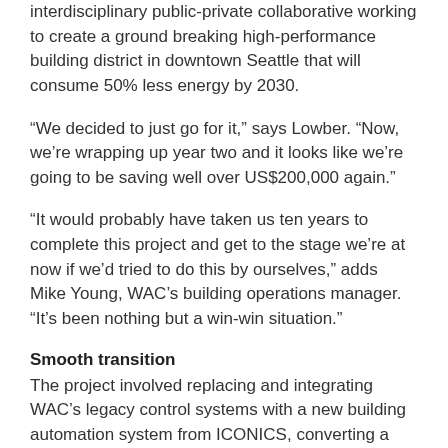interdisciplinary public-private collaborative working to create a ground breaking high-performance building district in downtown Seattle that will consume 50% less energy by 2030.
“We decided to just go for it,” says Lowber. “Now, we’re wrapping up year two and it looks like we’re going to be saving well over US$200,000 again.”
“It would probably have taken us ten years to complete this project and get to the stage we’re at now if we’d tried to do this by ourselves,” adds Mike Young, WAC’s building operations manager. “It’s been nothing but a win-win situation.”
Smooth transition
The project involved replacing and integrating WAC’s legacy control systems with a new building automation system from ICONICS, converting a three-way, constant-volume chilled water system to a load-based, variable-